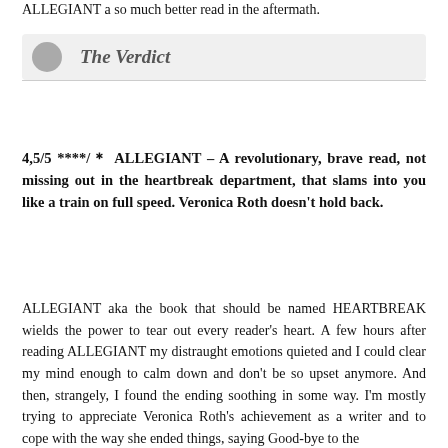ALLEGIANT a so much better read in the aftermath.
The Verdict
4,5/5 ****/＊ ALLEGIANT – A revolutionary, brave read, not missing out in the heartbreak department, that slams into you like a train on full speed. Veronica Roth doesn't hold back.
ALLEGIANT aka the book that should be named HEARTBREAK wields the power to tear out every reader's heart. A few hours after reading ALLEGIANT my distraught emotions quieted and I could clear my mind enough to calm down and don't be so upset anymore. And then, strangely, I found the ending soothing in some way. I'm mostly trying to appreciate Veronica Roth's achievement as a writer and to cope with the way she ended things, saying Good-bye to the